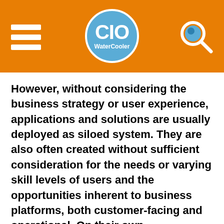CIO Water Cooler
However, without considering the business strategy or user experience, applications and solutions are usually deployed as siloed system. They are also often created without sufficient consideration for the needs or varying skill levels of users and the opportunities inherent to business platforms, both customer-facing and operational. On their own, applications and solutions often have poor adoption rates and do not achieve their full potential, much like our New Year's resolutions.
Successful digital transformation initiatives are only achieved when each of these three components are aligned. When creating your digital strategy it's